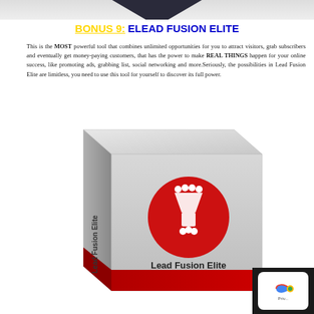[Figure (illustration): Dark triangular banner/header element at top of page]
BONUS 9: ELEAD FUSION ELITE
This is the MOST powerful tool that combines unlimited opportunities for you to attract visitors, grab subscribers and eventually get money-paying customers, that has the power to make REAL THINGS happen for your online success, like promoting ads, grabbing list, social networking and more.Seriously, the possibilities in Lead Fusion Elite are limitless, you need to use this tool for yourself to discover its full power.
[Figure (photo): 3D product box image labeled 'Lead Fusion Elite' with a red circle logo showing a funnel with people icons and the text 'Lead Fusion Elite' on the front face]
[Figure (logo): Privacy/reCAPTCHA badge in bottom right corner with dark background]